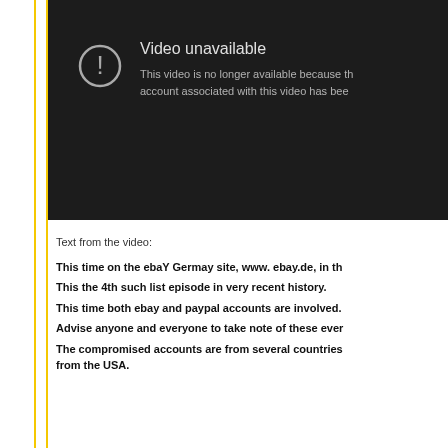[Figure (screenshot): YouTube 'Video unavailable' error screen with dark background, exclamation mark circle icon, title 'Video unavailable', and partial text 'This video is no longer available because th... account associated with this video has bee...']
Text from the video:
This time on the ebaY Germay site, www. ebay.de, in th...
This the 4th such list episode in very recent history.
This time both ebay and paypal accounts are involved.
Advise anyone and everyone to take note of these even...
The compromised accounts are from several countries... from the USA.